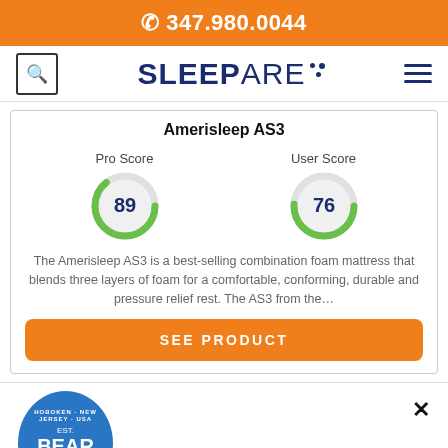347.980.0044
[Figure (logo): SleepAre logo with navigation search icon and hamburger menu]
Amerisleep AS3
[Figure (donut-chart): Circular progress gauge showing score 89]
[Figure (donut-chart): Circular progress gauge showing score 76]
The Amerisleep AS3 is a best-selling combination foam mattress that blends three layers of foam for a comfortable, conforming, durable and pressure relief rest. The AS3 from the…
SEE PRODUCT
[Figure (logo): Bear mattress badge logo - Hoboken New Jersey USA Est. 2014]